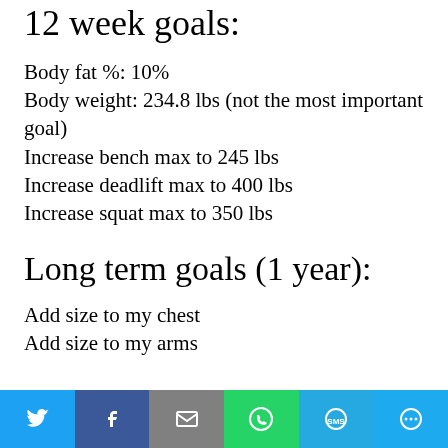12 week goals:
Body fat %: 10%
Body weight: 234.8 lbs (not the most important goal)
Increase bench max to 245 lbs
Increase deadlift max to 400 lbs
Increase squat max to 350 lbs
Long term goals (1 year):
Add size to my chest
Add size to my arms